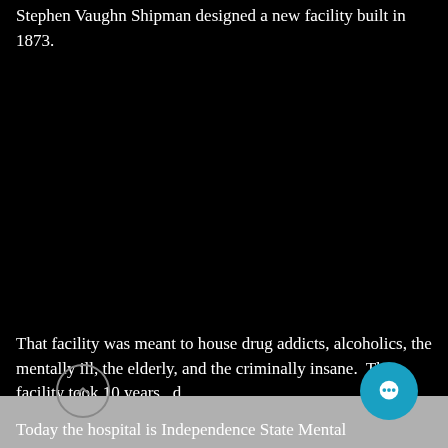Stephen Vaughn Shipman designed a new facility built in 1873.
[Figure (photo): A large black area representing a photograph (mostly black/dark image) occupying the center of the page.]
That facility was meant to house drug addicts, alcoholics, the mentally ill, the elderly, and the criminally insane. The facility took 10 years to build.
Today the hospital is Independence State Mental